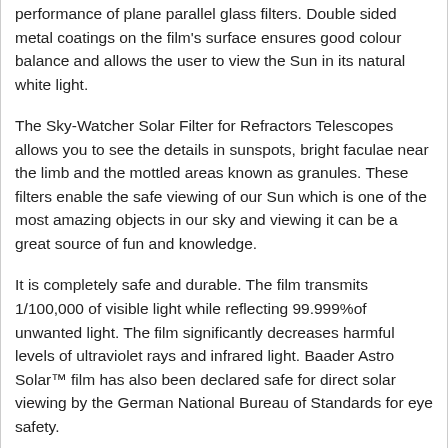performance of plane parallel glass filters. Double sided metal coatings on the film's surface ensures good colour balance and allows the user to view the Sun in its natural white light.
The Sky-Watcher Solar Filter for Refractors Telescopes allows you to see the details in sunspots, bright faculae near the limb and the mottled areas known as granules. These filters enable the safe viewing of our Sun which is one of the most amazing objects in our sky and viewing it can be a great source of fun and knowledge.
It is completely safe and durable. The film transmits 1/100,000 of visible light while reflecting 99.999%of unwanted light. The film significantly decreases harmful levels of ultraviolet rays and infrared light. Baader Astro Solar™ film has also been declared safe for direct solar viewing by the German National Bureau of Standards for eye safety.